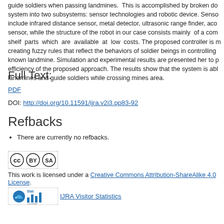guide soldiers when passing landmines. This is accomplished by broken down the system into two subsystems: sensor technologies and robotic device. Sensor technologies include infrared distance sensor, metal detector, ultrasonic range finder, acoustic sensor, while the structure of the robot in our case consists mainly of a commercial off shelf parts which are available at low costs. The proposed controller is modeled by creating fuzzy rules that reflect the behaviors of soldier beings in controlling a robot to a known landmine. Simulation and experimental results are presented her to prove the efficiency of the proposed approach. The results show that the system is able to detect landmines and guide soldiers while crossing mines area.
Full Text:
PDF
DOI: http://doi.org/10.11591/ijra.v2i3.pp83-92
Refbacks
There are currently no refbacks.
[Figure (logo): Creative Commons BY-SA license badge]
This work is licensed under a Creative Commons Attribution-ShareAlike 4.0 License.
[Figure (logo): StatCounter badge]
IJRA Visitor Statistics